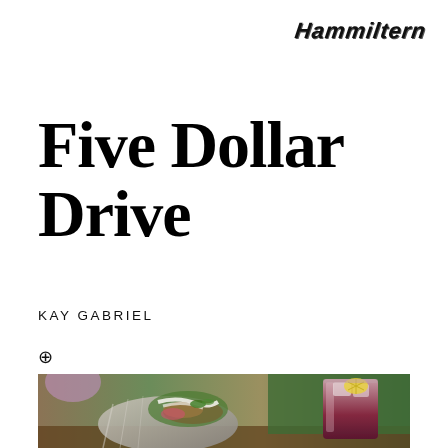Hammiltern
Five Dollar Drive
KAY GABRIEL
⊕
[Figure (photo): A food photograph showing a burrito or wrap in foil filled with fried food, greens, and sauce, alongside a pink/red drink with a lemon slice and ice cubes in a glass, set on a wooden surface with a green background.]